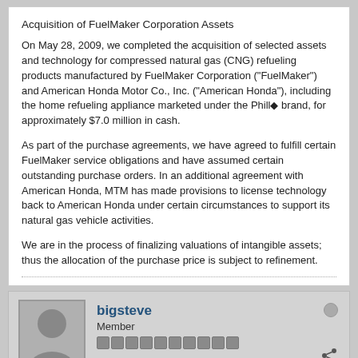Acquisition of FuelMaker Corporation Assets
On May 28, 2009, we completed the acquisition of selected assets and technology for compressed natural gas (CNG) refueling products manufactured by FuelMaker Corporation ("FuelMaker") and American Honda Motor Co., Inc. ("American Honda"), including the home refueling appliance marketed under the Phill◆ brand, for approximately $7.0 million in cash.
As part of the purchase agreements, we have agreed to fulfill certain FuelMaker service obligations and have assumed certain outstanding purchase orders. In an additional agreement with American Honda, MTM has made provisions to license technology back to American Honda under certain circumstances to support its natural gas vehicle activities.
We are in the process of finalizing valuations of intangible assets; thus the allocation of the purchase price is subject to refinement.
bigsteve
Member
Join Date: Jun 2008    Posts: 25
11-17-2009, 10:48 AM    #11